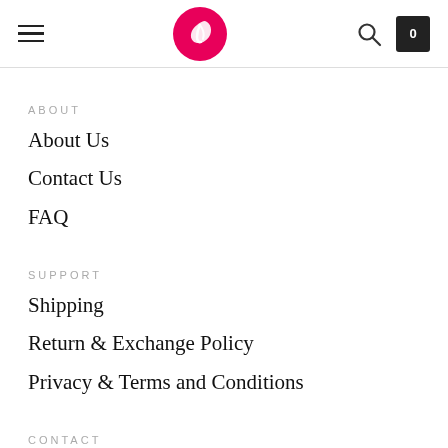Navigation header with hamburger menu, logo, search and cart icons
ABOUT
About Us
Contact Us
FAQ
SUPPORT
Shipping
Return & Exchange Policy
Privacy & Terms and Conditions
CONTACT
6591 Victoria Drive